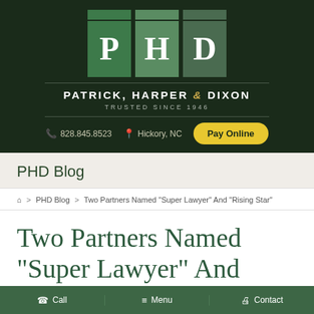[Figure (logo): PHD law firm logo with three colored boxes containing letters P, H, D above the firm name Patrick, Harper & Dixon, Trusted Since 1946]
📞 828.845.8523  📍 Hickory, NC  Pay Online
PHD Blog
⌂ > PHD Blog > Two Partners Named "Super Lawyer" And "Rising Star"
Two Partners Named "Super Lawyer" And
Call  Menu  Contact